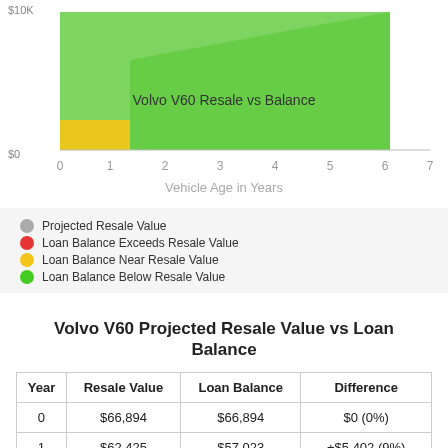[Figure (area-chart): Area chart showing Volvo V60 Projected Resale Value vs Loan Balance over 7 years. Green area where loan balance is below resale value, yellow area near resale value, with x-axis 0-7 years and y-axis up to $10K shown at top.]
Projected Resale Value
Loan Balance Exceeds Resale Value
Loan Balance Near Resale Value
Loan Balance Below Resale Value
Volvo V60 Projected Resale Value vs Loan Balance
| Year | Resale Value | Loan Balance | Difference |
| --- | --- | --- | --- |
| 0 | $66,894 | $66,894 | $0 (0%) |
| 1 | $62,425 | $57,023 | +$5,402 (9%) |
| 2 | $57,576 | $46,673 | +$10,903 (19%) |
| 3 | $54,318 | $35,822 | +$18,496 (34%) |